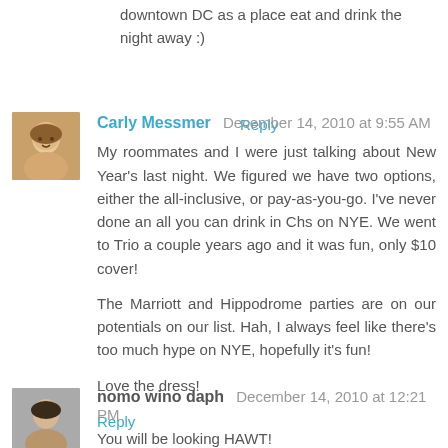downtown DC as a place eat and drink the night away :)
Reply
Carly Messmer  December 14, 2010 at 9:55 AM
My roommates and I were just talking about New Year's last night. We figured we have two options, either the all-inclusive, or pay-as-you-go. I've never done an all you can drink in Chs on NYE. We went to Trio a couple years ago and it was fun, only $10 cover!
The Marriott and Hippodrome parties are on our potentials on our list. Hah, I always feel like there's too much hype on NYE, hopefully it's fun!
Love the dress!
Reply
nomo wino daph  December 14, 2010 at 12:21 PM
You will be looking HAWT!